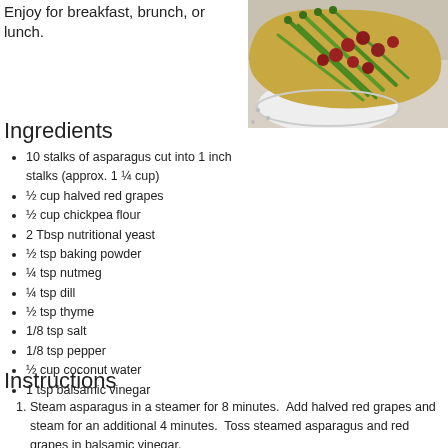Enjoy for breakfast, brunch, or lunch.
[Figure (photo): Photo of a crepe or pancake filled with asparagus and halved red grapes on a plate]
Ingredients
10 stalks of asparagus cut into 1 inch stalks (approx. 1 ¼ cup)
½ cup halved red grapes
½ cup chickpea flour
2 Tbsp nutritional yeast
½ tsp baking powder
¼ tsp nutmeg
¼ tsp dill
½ tsp thyme
1/8 tsp salt
1/8 tsp pepper
½ cup coconut water
1 tsp balsamic vinegar
Instructions
Steam asparagus in a steamer for 8 minutes.  Add halved red grapes and steam for an additional 4 minutes.  Toss steamed asparagus and red grapes in balsamic vinegar.
Spray a 10-inch frying pan with pan spray.  Heat over medium heat.  Mix